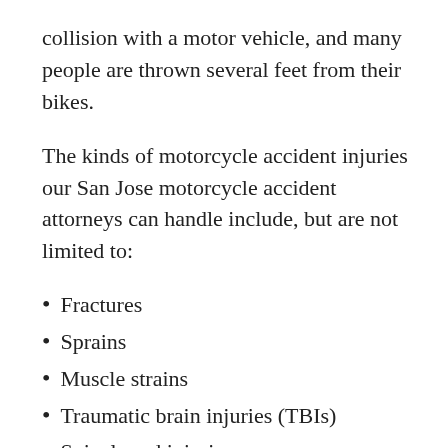collision with a motor vehicle, and many people are thrown several feet from their bikes.
The kinds of motorcycle accident injuries our San Jose motorcycle accident attorneys can handle include, but are not limited to:
Fractures
Sprains
Muscle strains
Traumatic brain injuries (TBIs)
Spinal cord injuries
Road rash
Internal organ injuries